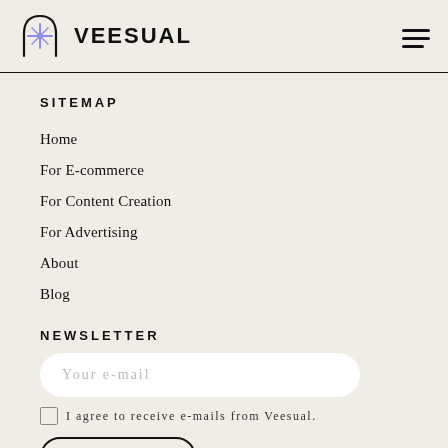VEESUAL
SITEMAP
Home
For E-commerce
For Content Creation
For Advertising
About
Blog
NEWSLETTER
Your e-mail
I agree to receive e-mails from Veesual.
SUBSCRIBE